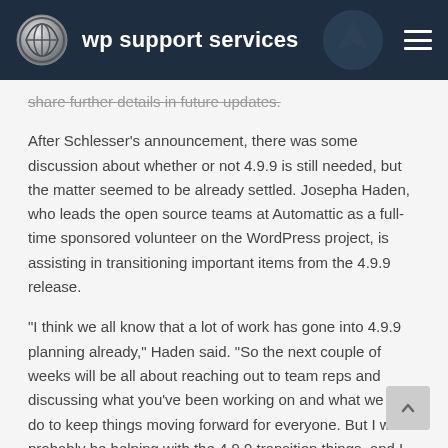wp support services
share further details in future updates.
After Schlesser's announcement, there was some discussion about whether or not 4.9.9 is still needed, but the matter seemed to be already settled. Josepha Haden, who leads the open source teams at Automattic as a full-time sponsored volunteer on the WordPress project, is assisting in transitioning important items from the 4.9.9 release.
"I think we all know that a lot of work has gone into 4.9.9 planning already," Haden said. "So the next couple of weeks will be all about reaching out to team reps and discussing what you've been working on and what we can do to keep things moving forward for everyone. But I will probably be helping with the 4.9.9 transition things, and I will say that the